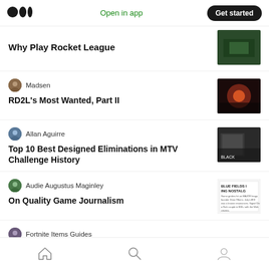Medium logo | Open in app | Get started
Why Play Rocket League
Madsen
RD2L's Most Wanted, Part II
Allan Aguirre
Top 10 Best Designed Eliminations in MTV Challenge History
Audie Augustus Maginley
On Quality Game Journalism
Fortnite Items Guides
Home | Search | Profile